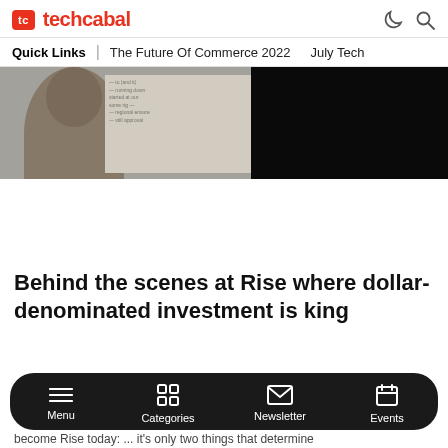techcabal
Quick Links | The Future Of Commerce 2022  July Tech
[Figure (photo): Photo of a man in front of a whiteboard with writing on it, partially obscured by a black rectangle on the right side]
Behind the scenes at Rise where dollar-denominated investment is king
become Rise today: ... it's only two things that determine